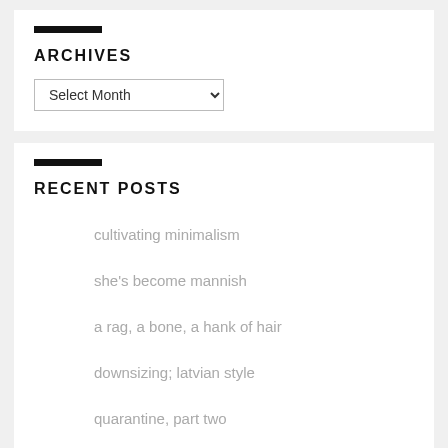ARCHIVES
Select Month
RECENT POSTS
cultivating minimalism
she's become mannish
a rag, a bone, a hank of hair
downsizing; latvian style
quarantine, part two